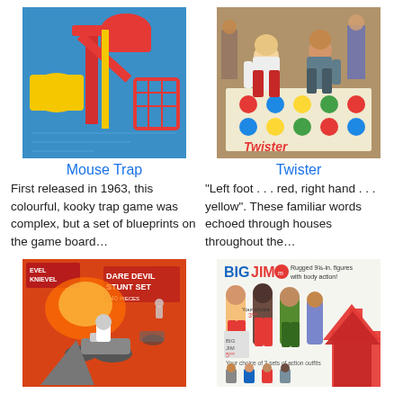[Figure (photo): Mouse Trap board game components — red plastic pieces including a wheel, slide, and cage on a blue game board]
Mouse Trap
First released in 1963, this colourful, kooky trap game was complex, but a set of blueprints on the game board…
[Figure (photo): People playing Twister on the colorful Twister mat, bending down to reach colored spots]
Twister
"Left foot . . . red, right hand . . . yellow". These familiar words echoed through houses throughout the…
[Figure (photo): Evel Knievel Dare Devil Stunt Set toy packaging showing motorcycle stunt figure and ramp set with '40 pieces' label]
[Figure (photo): Big Jim Mattel advertisement showing rugged action figures with body action, showing multiple Jim figures in various outfits, price tags visible, with a large red arrow overlay]